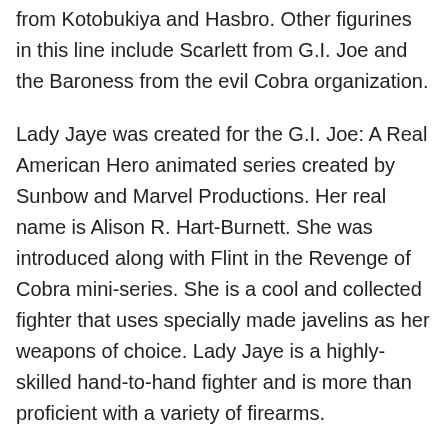from Kotobukiya and Hasbro. Other figurines in this line include Scarlett from G.I. Joe and the Baroness from the evil Cobra organization.
Lady Jaye was created for the G.I. Joe: A Real American Hero animated series created by Sunbow and Marvel Productions. Her real name is Alison R. Hart-Burnett. She was introduced along with Flint in the Revenge of Cobra mini-series. She is a cool and collected fighter that uses specially made javelins as her weapons of choice. Lady Jaye is a highly-skilled hand-to-hand fighter and is more than proficient with a variety of firearms.